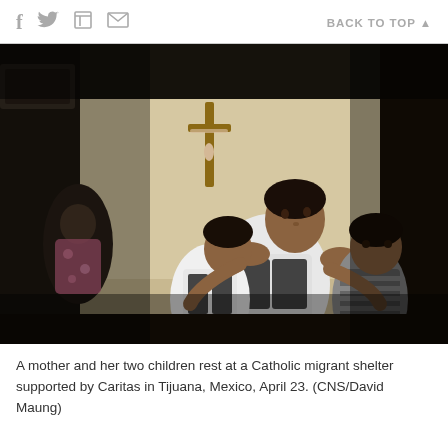f  [twitter]  [print]  [email]   BACK TO TOP ▲
[Figure (photo): A mother and her two children resting at a Catholic migrant shelter. A crucifix hangs on the beige wall behind them. The mother sits upright looking upward while embracing her two children. Another figure is visible in the background on the left.]
A mother and her two children rest at a Catholic migrant shelter supported by Caritas in Tijuana, Mexico, April 23. (CNS/David Maung)